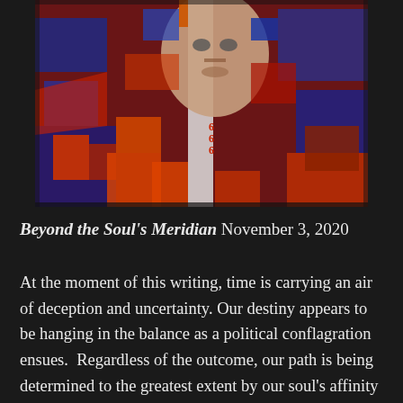[Figure (illustration): A colorful, densely detailed painting featuring a large face in the center with a white vertical stripe, surrounded by an urban cityscape with buildings, figures, and vivid red, blue, and orange colors in a cubist/expressionist style.]
Beyond the Soul's Meridian November 3, 2020
At the moment of this writing, time is carrying an air of deception and uncertainty. Our destiny appears to be hanging in the balance as a political conflagration ensues.  Regardless of the outcome, our path is being determined to the greatest extent by our soul's affinity